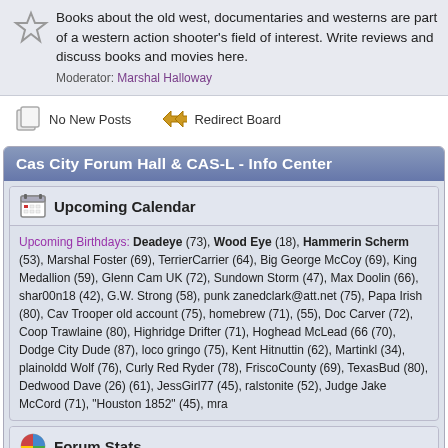Books about the old west, documentaries and westerns are part of a western action shooter's field of interest. Write reviews and discuss books and movies here. Moderator: Marshal Halloway
[Figure (infographic): No New Posts icon and Redirect Board icon with labels]
Cas City Forum Hall & CAS-L - Info Center
Upcoming Calendar
Upcoming Birthdays: Deadeye (73), Wood Eye (18), Hammerin Scherm (53), Marshal Foster (69), TerrierCarrier (64), Big George McCoy (69), King Medallion (59), Glenn Cam UK (72), Sundown Storm (47), Max Doolin (66), shar00n18 (42), G.W. Strong (58), punk zanedclark@att.net (75), Papa Irish (80), Cav Trooper old account (75), homebrew (71), (55), Doc Carver (72), Coop Trawlaine (80), Highridge Drifter (71), Hoghead McLead (66 (70), Dodge City Dude (87), loco gringo (75), Kent Hitnuttin (62), Martinkl (34), plainoldd Wolf (76), Curly Red Ryder (78), FriscoCounty (69), TexasBud (80), Dedwood Dave (26) (61), JessGirl77 (45), ralstonite (52), Judge Jake McCord (71), "Houston 1852" (45), mra
Forum Stats
636797 Posts in 51899 Topics by 7626 Members. Latest Member: GABgu Latest Post: "The Real West 65 episode..." ( Today at 02:04:31 AM ) View the most recent posts on the forum.